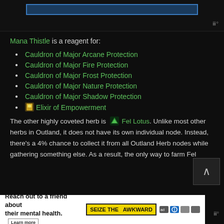[Figure (screenshot): Top portion showing a partially visible image with blue border strip and watermark logo in bottom right]
Mana Thistle is a reagent for:
Cauldron of Major Arcane Protection
Cauldron of Major Fire Protection
Cauldron of Major Frost Protection
Cauldron of Major Nature Protection
Cauldron of Major Shadow Protection
Elixir of Empowerment
The other highly coveted herb is Fel Lotus. Unlike most other herbs in Outland, it does not have its own individual node. Instead, there's a 4% chance to collect it from all Outland Herb nodes while gathering something else. As a result, the only way to farm Fel
[Figure (screenshot): Advertisement banner: Reach out to a friend about their mental health. SEIZE THE AWKWARD badge with Learn more button and icons.]